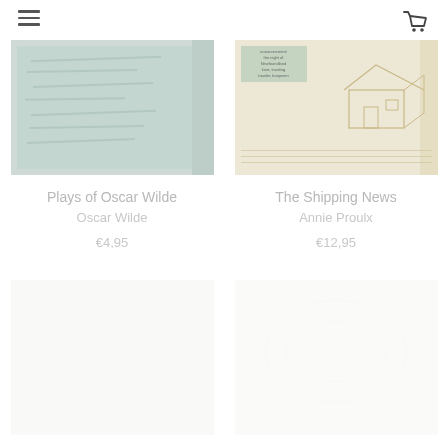Navigation menu and shopping cart icons
[Figure (photo): Book cover for Plays of Oscar Wilde - light teal/mint color with handwriting texture]
Plays of Oscar Wilde
Oscar Wilde
€4,95
[Figure (photo): Book cover for The Shipping News - beige/cream color with architectural sketch of a house]
The Shipping News
Annie Proulx
€12,95
[Figure (photo): Partially visible faded book cover in bottom left]
[Figure (photo): Partially visible faded book cover in bottom right]